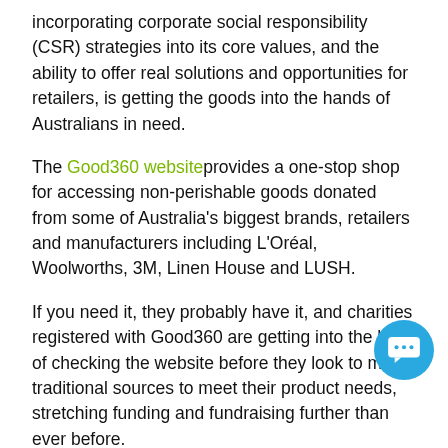incorporating corporate social responsibility (CSR) strategies into its core values, and the ability to offer real solutions and opportunities for retailers, is getting the goods into the hands of Australians in need.
The Good360 website provides a one-stop shop for accessing non-perishable goods donated from some of Australia's biggest brands, retailers and manufacturers including L'Oréal, Woolworths, 3M, Linen House and LUSH.
If you need it, they probably have it, and charities registered with Good360 are getting into the habit of checking the website before they look to more traditional sources to meet their product needs, stretching funding and fundraising further than ever before.
Australian charities or not-for-profit organisations can order the goods they want for free and have it